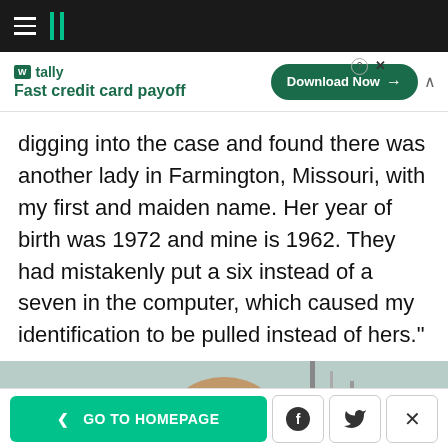HuffPost navigation header with hamburger menu and logo
[Figure (infographic): Tally advertisement banner: 'Fast credit card payoff' with Download Now button]
digging into the case and found there was another lady in Farmington, Missouri, with my first and maiden name. Her year of birth was 1972 and mine is 1962. They had mistakenly put a six instead of a seven in the computer, which caused my identification to be pulled instead of hers."
[Figure (photo): Partial photo of a person's head with equipment visible in background]
< GO TO HOMEPAGE | Facebook share | Twitter share | Close